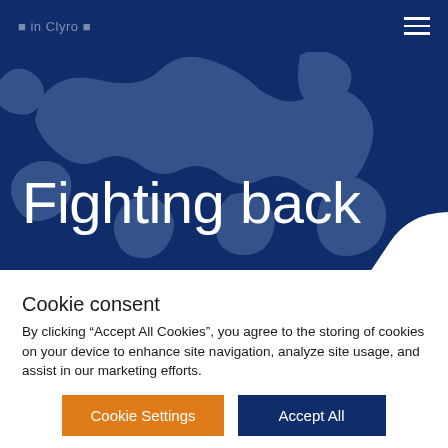Fighting back — website header navigation
[Figure (illustration): Dark navy blue hero banner with silhouette map overlay showing regions in lighter blue-grey. Large white text reads 'Fighting back'.]
Cookie consent
By clicking “Accept All Cookies”, you agree to the storing of cookies on your device to enhance site navigation, analyze site usage, and assist in our marketing efforts.
Cookie Settings | Accept All